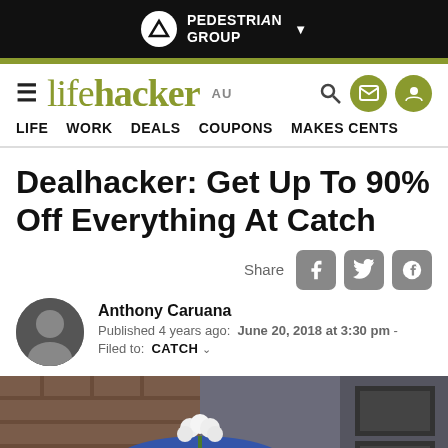[Figure (logo): Pedestrian Group logo in black top bar]
[Figure (logo): Lifehacker AU logo with hamburger menu and icons]
LIFE  WORK  DEALS  COUPONS  MAKES CENTS
Dealhacker: Get Up To 90% Off Everything At Catch
Share
Anthony Caruana
Published 4 years ago:  June 20, 2018 at 3:30 pm  -
Filed to:  CATCH
[Figure (photo): Article header photo showing a dining table area with flowers, brick wall background]